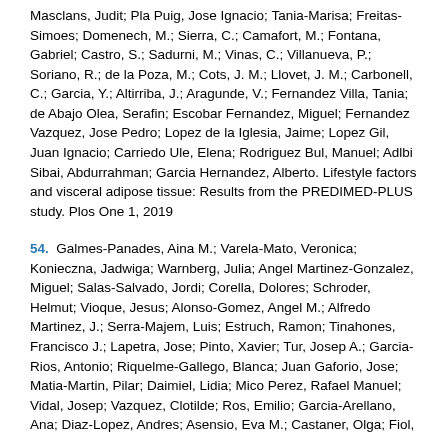Masclans, Judit; Pla Puig, Jose Ignacio; Tania-Marisa; Freitas-Simoes; Domenech, M.; Sierra, C.; Camafort, M.; Fontana, Gabriel; Castro, S.; Sadurni, M.; Vinas, C.; Villanueva, P.; Soriano, R.; de la Poza, M.; Cots, J. M.; Llovet, J. M.; Carbonell, C.; Garcia, Y.; Altirriba, J.; Aragunde, V.; Fernandez Villa, Tania; de Abajo Olea, Serafin; Escobar Fernandez, Miguel; Fernandez Vazquez, Jose Pedro; Lopez de la Iglesia, Jaime; Lopez Gil, Juan Ignacio; Carriedo Ule, Elena; Rodriguez Bul, Manuel; Adlbi Sibai, Abdurrahman; Garcia Hernandez, Alberto. Lifestyle factors and visceral adipose tissue: Results from the PREDIMED-PLUS study. Plos One 1, 2019
54. Galmes-Panades, Aina M.; Varela-Mato, Veronica; Konieczna, Jadwiga; Warnberg, Julia; Angel Martinez-Gonzalez, Miguel; Salas-Salvado, Jordi; Corella, Dolores; Schroder, Helmut; Vioque, Jesus; Alonso-Gomez, Angel M.; Alfredo Martinez, J.; Serra-Majem, Luis; Estruch, Ramon; Tinahones, Francisco J.; Lapetra, Jose; Pinto, Xavier; Tur, Josep A.; Garcia-Rios, Antonio; Riquelme-Gallego, Blanca; Juan Gaforio, Jose; Matia-Martin, Pilar; Daimiel, Lidia; Mico Perez, Rafael Manuel; Vidal, Josep; Vazquez, Clotilde; Ros, Emilio; Garcia-Arellano, Ana; Diaz-Lopez, Andres; Asensio, Eva M.; Castaner, Olga; Fiol,